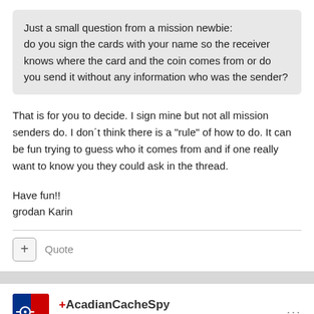Just a small question from a mission newbie: do you sign the cards with your name so the receiver knows where the card and the coin comes from or do you send it without any information who was the sender?
That is for you to decide. I sign mine but not all mission senders do. I don´t think there is a "rule" of how to do. It can be fun trying to guess who it comes from and if one really want to know you they could ask in the thread.
Have fun!!
grodan Karin
+ Quote
+AcadianCacheSpy
Posted November 24, 2010